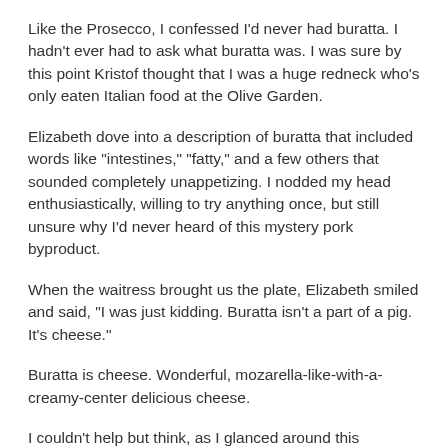Like the Prosecco, I confessed I'd never had buratta. I hadn't ever had to ask what buratta was. I was sure by this point Kristof thought that I was a huge redneck who's only eaten Italian food at the Olive Garden.
Elizabeth dove into a description of buratta that included words like "intestines," "fatty," and a few others that sounded completely unappetizing. I nodded my head enthusiastically, willing to try anything once, but still unsure why I'd never heard of this mystery pork byproduct.
When the waitress brought us the plate, Elizabeth smiled and said, "I was just kidding. Buratta isn't a part of a pig. It's cheese."
Buratta is cheese. Wonderful, mozarella-like-with-a-creamy-center delicious cheese.
I couldn't help but think, as I glanced around this beautiful restaurant with my former roommate Elizabeth and marvel at how much our culinary tastes have improved since the days of Tatina's pizza and Ben & Jerry's Chunky Monkeyice...